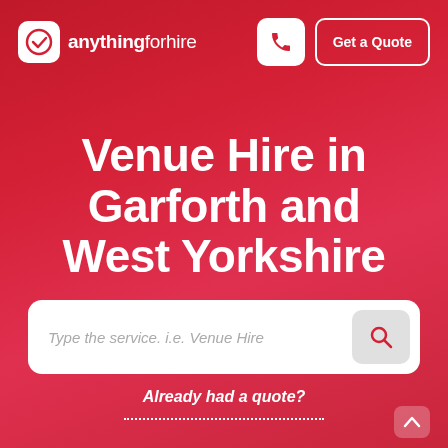[Figure (logo): anythingforhire logo with red rounded square icon and text 'anythingforhire' in white]
Venue Hire in Garforth and West Yorkshire
Type the service. i.e. Venue Hire
Already had a quote?